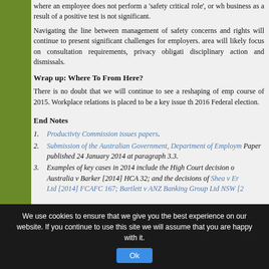where an employee does not perform a 'safety critical role', or where the risk to the business as a result of a positive test is not significant.
Navigating the line between management of safety concerns and employee privacy rights will continue to present significant challenges for employers. Litigation in this area will likely focus on consultation requirements, privacy obligations, disciplinary action and dismissals.
Wrap up: Where To From Here?
There is no doubt that we will continue to see a reshaping of employment law in the course of 2015. Workplace relations is placed to be a key issue that will dominate the 2016 Federal election.
End Notes
1. Productivty Commission issues papers.
2. Submission of the Australian Government, Department of Employment to the Issues Paper published 24 January 2014 at paragraph 3.3.
3. Examples of key cases in 2014 include the High Court decision of Commonwealth of Australia v Barker [2014] HCA 32; and the decisions of Shea v Emmanuel College Ltd [2014] FCAFC 167; Bartlett v ANZ Banking Group Ltd NSW [2...
We use cookies to ensure that we give you the best experience on our website. If you continue to use this site we will assume that you are happy with it.